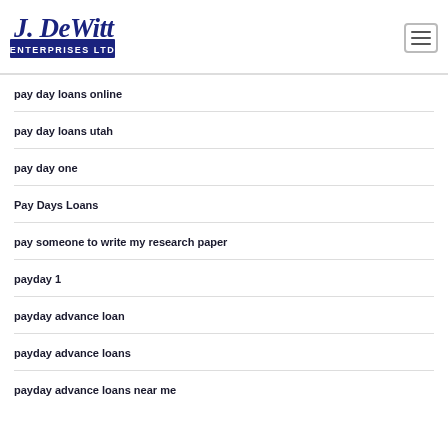[Figure (logo): J. DeWitt Enterprises Ltd logo in navy blue script and block letters]
pay day loans online
pay day loans utah
pay day one
Pay Days Loans
pay someone to write my research paper
payday 1
payday advance loan
payday advance loans
payday advance loans near me